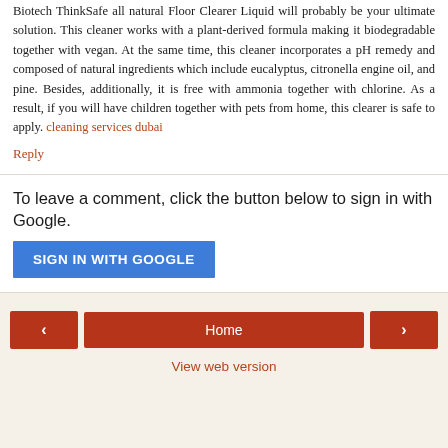Biotech ThinkSafe all natural Floor Clearer Liquid will probably be your ultimate solution. This cleaner works with a plant-derived formula making it biodegradable together with vegan. At the same time, this cleaner incorporates a pH remedy and composed of natural ingredients which include eucalyptus, citronella engine oil, and pine. Besides, additionally, it is free with ammonia together with chlorine. As a result, if you will have children together with pets from home, this clearer is safe to apply. cleaning services dubai
Reply
To leave a comment, click the button below to sign in with Google.
SIGN IN WITH GOOGLE
‹
Home
›
View web version